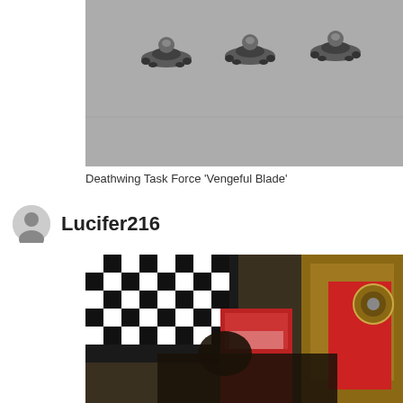[Figure (photo): Three go-karts or similar small vehicles with riders on a gray track surface, viewed from above/behind]
Deathwing Task Force 'Vengeful Blade'
Lucifer216
[Figure (photo): Close-up photo of hobby/miniature gaming items including a checkered flag pattern, red items, and a gold-colored object, blurry]